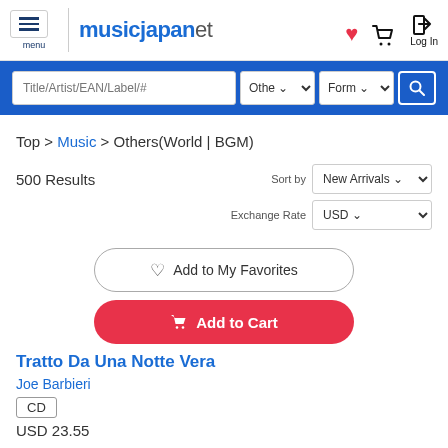musicjapanet — menu, heart, cart, Log In, search bar
Top > Music > Others(World | BGM)
500 Results  Sort by  New Arrivals  Exchange Rate  USD
Add to My Favorites
Add to Cart
Tratto Da Una Notte Vera
Joe Barbieri
CD
USD 23.55